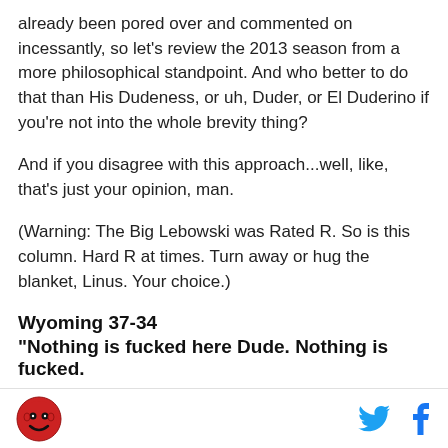already been pored over and commented on incessantly, so let's review the 2013 season from a more philosophical standpoint. And who better to do that than His Dudeness, or uh, Duder, or El Duderino if you're not into the whole brevity thing?
And if you disagree with this approach...well, like, that's just your opinion, man.
(Warning: The Big Lebowski was Rated R. So is this column. Hard R at times. Turn away or hug the blanket, Linus. Your choice.)
Wyoming 37-34
"Nothing is fucked here Dude. Nothing is fucked.
Logo and social media icons